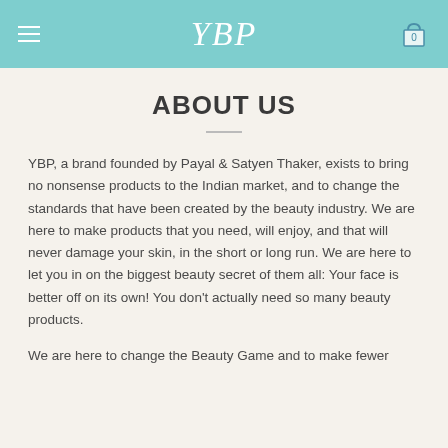YBP
ABOUT US
YBP, a brand founded by Payal & Satyen Thaker, exists to bring no nonsense products to the Indian market, and to change the standards that have been created by the beauty industry. We are here to make products that you need, will enjoy, and that will never damage your skin, in the short or long run. We are here to let you in on the biggest beauty secret of them all: Your face is better off on its own! You don't actually need so many beauty products.
We are here to change the Beauty Game and to make fewer but great products, better alternatives that you will love.